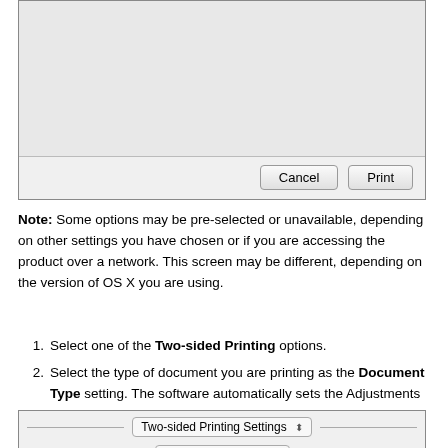[Figure (screenshot): Bottom of a print dialog box showing Cancel and Print buttons on a gray background]
Note: Some options may be pre-selected or unavailable, depending on other settings you have chosen or if you are accessing the product over a network. This screen may be different, depending on the version of OS X you are using.
Select one of the Two-sided Printing options.
Select the type of document you are printing as the Document Type setting. The software automatically sets the Adjustments options for that document type.
[Figure (screenshot): Two-sided Printing Settings dialog panel showing Two-sided Printing: Long-Edge binding dropdown]